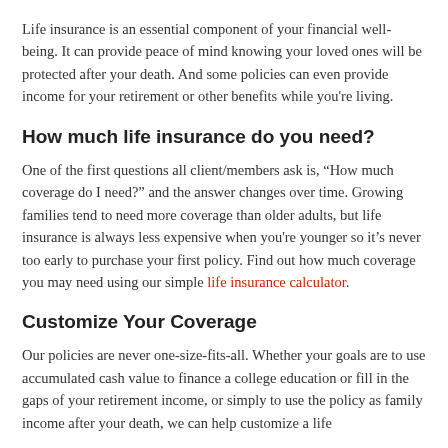Life insurance is an essential component of your financial well-being. It can provide peace of mind knowing your loved ones will be protected after your death. And some policies can even provide income for your retirement or other benefits while you're living.
How much life insurance do you need?
One of the first questions all client/members ask is, “How much coverage do I need?” and the answer changes over time. Growing families tend to need more coverage than older adults, but life insurance is always less expensive when you're younger so it’s never too early to purchase your first policy. Find out how much coverage you may need using our simple life insurance calculator.
Customize Your Coverage
Our policies are never one-size-fits-all. Whether your goals are to use accumulated cash value to finance a college education or fill in the gaps of your retirement income, or simply to use the policy as family income after your death, we can help customize a life